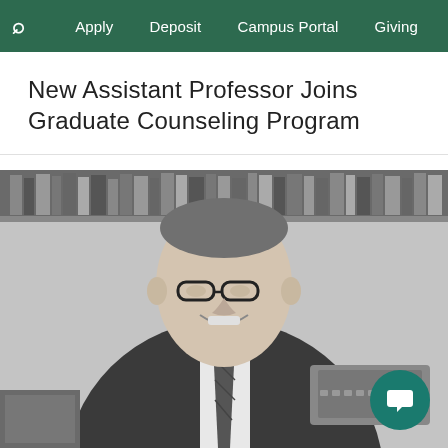🔍  Apply  Deposit  Campus Portal  Giving
New Assistant Professor Joins Graduate Counseling Program
[Figure (photo): Black and white photograph of a middle-aged man in a dark suit and striped tie, wearing glasses, smiling, seated at a desk with books on a shelf behind him and office equipment nearby.]